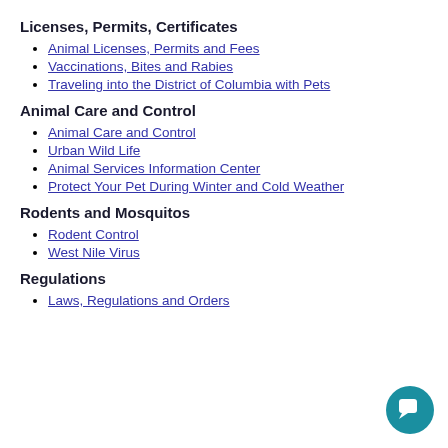Licenses, Permits, Certificates
Animal Licenses, Permits and Fees
Vaccinations, Bites and Rabies
Traveling into the District of Columbia with Pets
Animal Care and Control
Animal Care and Control
Urban Wild Life
Animal Services Information Center
Protect Your Pet During Winter and Cold Weather
Rodents and Mosquitos
Rodent Control
West Nile Virus
Regulations
Laws, Regulations and Orders